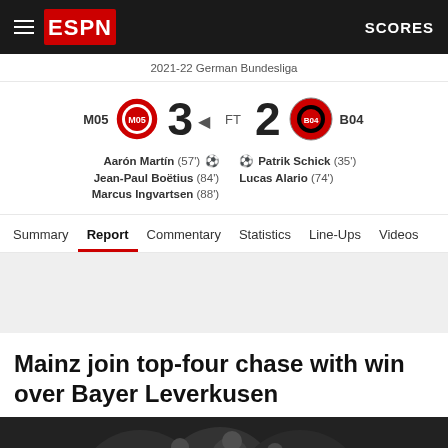ESPN — SCORES
2021-22 German Bundesliga
M05  3  FT  2  B04
Aarón Martín (57') ⚽ ⚽ Patrik Schick (35')
Jean-Paul Boëtius (84')  Lucas Alario (74')
Marcus Ingvartsen (88')
Summary  Report  Commentary  Statistics  Line-Ups  Videos
Mainz join top-four chase with win over Bayer Leverkusen
[Figure (photo): Photo of players celebrating at bottom of page]